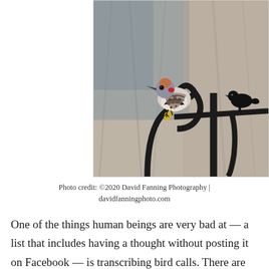[Figure (photo): A Northern Flicker woodpecker perched on a curved black metal shepherd's hook, with a decorative black metal bird silhouette beside it. The bird has a speckled white and black breast, orange-brown cap, red patch on the neck, and yellow under-wing feathers visible. Blurred bare winter trees in the background.]
Photo credit: ©2020 David Fanning Photography | davidfanningphoto.com
One of the things human beings are very bad at — a list that includes having a thought without posting it on Facebook — is transcribing bird calls. There are just certain things a particular species isn't equipped to do.